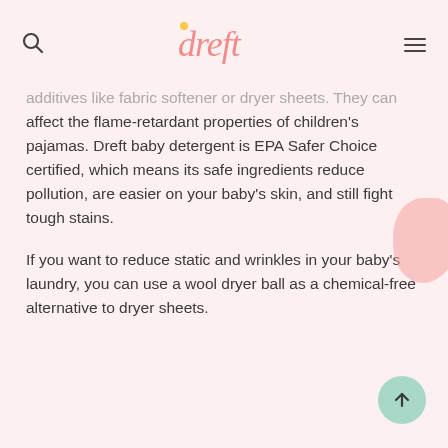dreft
additives like fabric softener or dryer sheets. They can affect the flame-retardant properties of children's pajamas. Dreft baby detergent is EPA Safer Choice certified, which means its safe ingredients reduce pollution, are easier on your baby's skin, and still fight tough stains.
If you want to reduce static and wrinkles in your baby's laundry, you can use a wool dryer ball as a chemical-free alternative to dryer sheets.